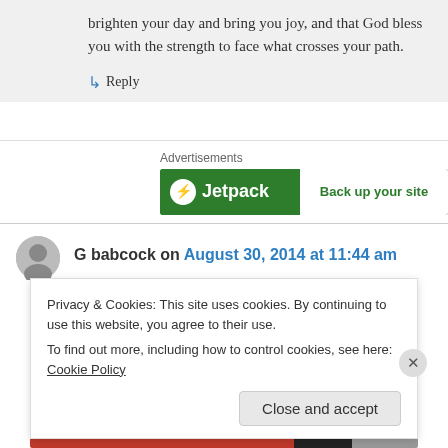brighten your day and bring you joy, and that God bless you with the strength to face what crosses your path.
↳ Reply
Advertisements
[Figure (screenshot): Jetpack advertisement banner with green background showing logo and 'Back up your site' CTA]
G babcock on August 30, 2014 at 11:44 am
Privacy & Cookies: This site uses cookies. By continuing to use this website, you agree to their use.
To find out more, including how to control cookies, see here: Cookie Policy
Close and accept